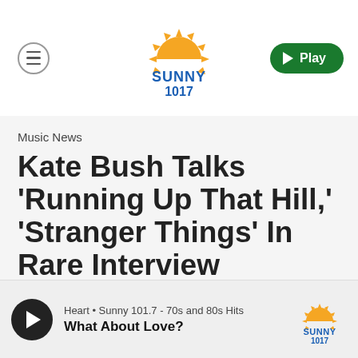[Figure (logo): Sunny 101.7 radio station logo with orange sun rays and blue text]
Music News
Kate Bush Talks 'Running Up That Hill,' 'Stranger Things' In Rare Interview
By Katrina Nattress
Heart • Sunny 101.7 - 70s and 80s Hits
What About Love?